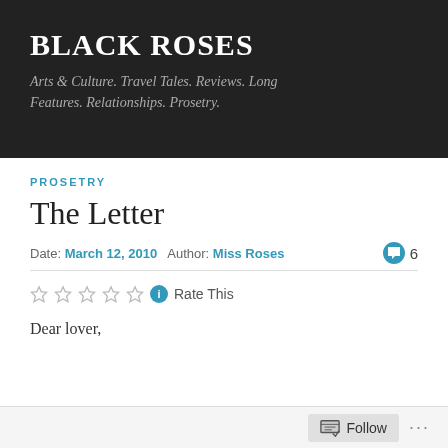BLACK ROSES
Arts & Culture. Travel Tales. Reviews. Long Features. Relationships. Prosetry.
PROSETRY
The Letter
Date: March 12, 2010   Author: Miss Roses   💬 6
☆☆☆☆☆ ℹ Rate This
Dear lover,
Follow ...